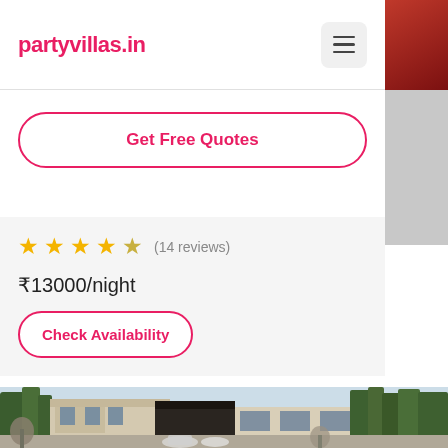partyvillas.in
Get Free Quotes
★★★★☆ (14 reviews)
₹13000/night
Check Availability
[Figure (photo): Exterior view of a villa with trees and a gate area, motorcyclists visible in the foreground]